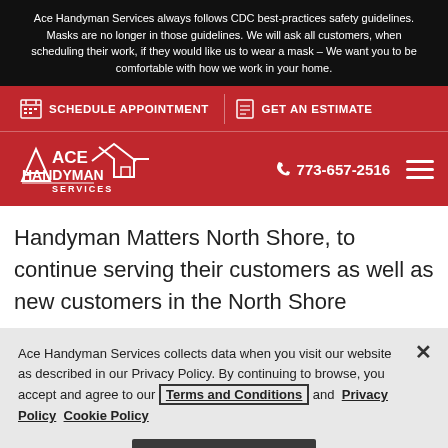Ace Handyman Services always follows CDC best-practices safety guidelines. Masks are no longer in those guidelines. We will ask all customers, when scheduling their work, if they would like us to wear a mask – We want you to be comfortable with how we work in your home.
SCHEDULE APPOINTMENT   GET AN ESTIMATE
[Figure (logo): Ace Handyman Services logo with house icon, white text on red background, phone number 773-657-2516 and hamburger menu]
Handyman Matters North Shore, to continue serving their customers as well as new customers in the North Shore
Ace Handyman Services collects data when you visit our website as described in our Privacy Policy. By continuing to browse, you accept and agree to our Terms and Conditions and Privacy Policy Cookie Policy
OK